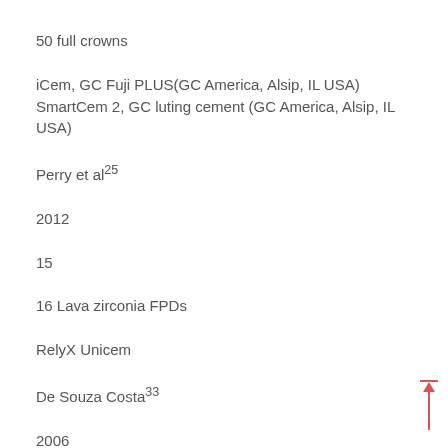50 full crowns
iCem, GC Fuji PLUS(GC America, Alsip, IL USA) SmartCem 2, GC luting cement (GC America, Alsip, IL USA)
Perry et al25
2012
15
16 Lava zirconia FPDs
RelyX Unicem
De Souza Costa33
2006
?
34...